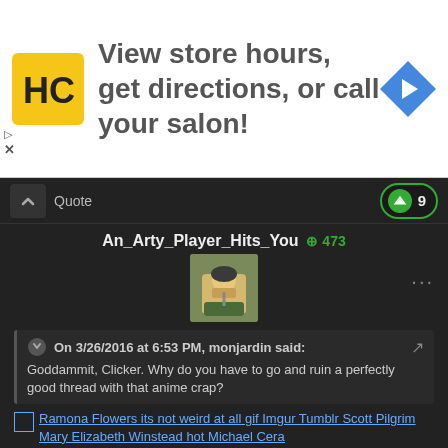[Figure (infographic): Advertisement banner for a salon app/website. Shows HC logo (yellow square with HC letters), text 'View store hours, get directions, or call your salon!', and a blue navigation arrow icon on the right. Play and X buttons on the left side.]
Quote
9
An_Arty_Player_Hits_You  +473
[Figure (photo): Forum user avatar showing an anime-style character illustration.]
On 3/26/2016 at 6:53 PM, monjardin said:
Goddammit, Clicker. Why do you have to go and ruin a perfectly good thread with that anime crap?
Ramona Flowers its not weird at all gif Imgur Tumblr Scott Pilgrim Mary Elizabeth Winstead hot Michael Cera